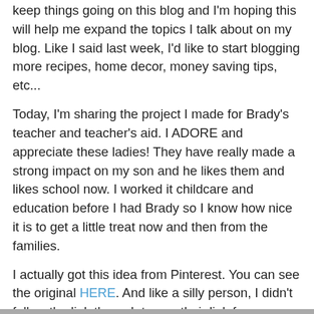keep things going on this blog and I'm hoping this will help me expand the topics I talk about on my blog. Like I said last week, I'd like to start blogging more recipes, home decor, money saving tips, etc...
Today, I'm sharing the project I made for Brady's teacher and teacher's aid. I ADORE and appreciate these ladies! They have really made a strong impact on my son and he likes them and likes school now. I worked it childcare and education before I had Brady so I know how nice it is to get a little treat now and then from the families.
I actually got this idea from Pinterest. You can see the original HERE. And like a silly person, I didn't follow the link through to see their link for a printable. I went off to find my own and I'm actually more happy with it than the one they used. You can get this PRINTABLE HERE. I got the cups at Big Lots (I'm addicted to my cup that is just like this!) and put some Halloween candy in there. I made a wrap using some net ribbon and the printable and I finished with a bow on the top.